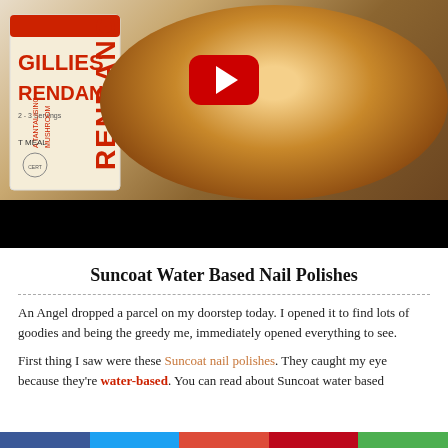[Figure (photo): Video thumbnail showing a food package labeled GILLIES RENDANG / A TANTALISING MUSHROOM RENDANG on the left and a bowl of chicken rendang on the right, with a YouTube red play button overlay. Below the image is a black letterbox bar.]
Suncoat Water Based Nail Polishes
An Angel dropped a parcel on my doorstep today. I opened it to find lots of goodies and being the greedy me, immediately opened everything to see.
First thing I saw were these Suncoat nail polishes. They caught my eye because they're water-based. You can read about Suncoat water based